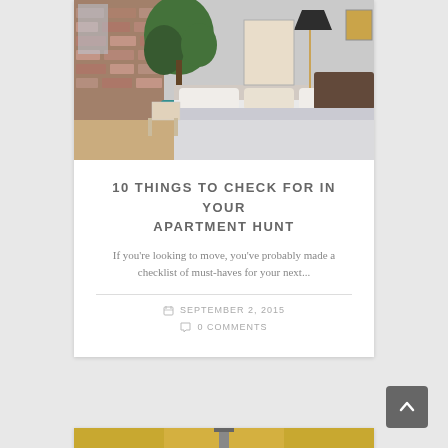[Figure (photo): Interior bedroom photo showing a loft apartment with exposed brick wall, large fiddle leaf fig plant, and a neatly made bed with white and patterned pillows, black floor lamp with gold arm, and wall art]
10 THINGS TO CHECK FOR IN YOUR APARTMENT HUNT
If you're looking to move, you've probably made a checklist of must-haves for your next...
SEPTEMBER 2, 2015
0 COMMENTS
[Figure (photo): Partial view of a second blog post card showing a yellow/golden toned interior image]